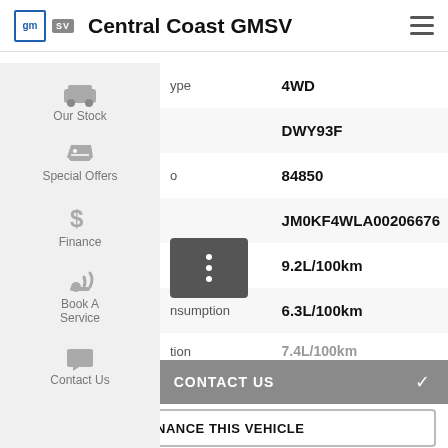Central Coast GMSV
Our Stock
Special Offers
Finance
Book A Service
Contact Us
| Field | Value |
| --- | --- |
| Type | 4WD |
|  | DWY93F |
| o | 84850 |
|  | JM0KF4WLA00206676 |
| nsumption | 9.2L/100km |
| nsumption | 6.3L/100km |
| tion | 7.4L/100km |
CONTACT US
FINANCE THIS VEHICLE